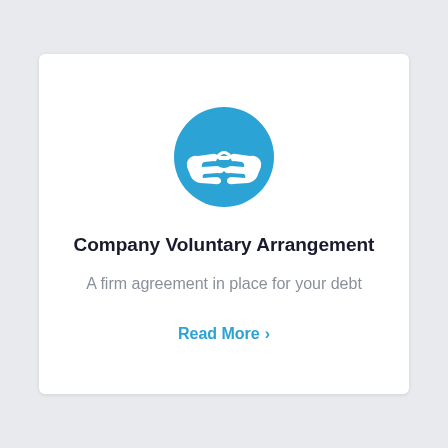[Figure (illustration): A teal/blue circle icon containing two white hands shaking or clasping together, representing a voluntary arrangement or agreement.]
Company Voluntary Arrangement
A firm agreement in place for your debt
Read More >